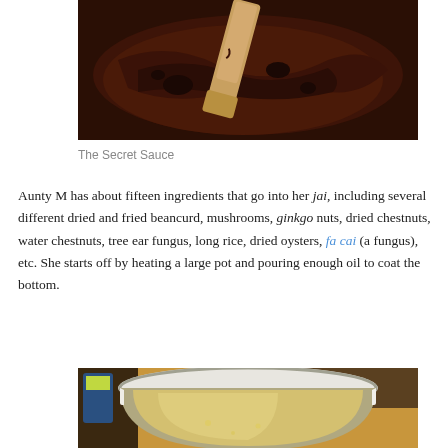[Figure (photo): Close-up of a dark brown sauce being stirred in a pan with a wooden spatula]
The Secret Sauce
Aunty M has about fifteen ingredients that go into her jai, including several different dried and fried beancurd, mushrooms, ginkgo nuts, dried chestnuts, water chestnuts, tree ear fungus, long rice, dried oysters, fa cai (a fungus), etc. She starts off by heating a large pot and pouring enough oil to coat the bottom.
[Figure (photo): Interior view of a large stainless steel pot on a kitchen stove]